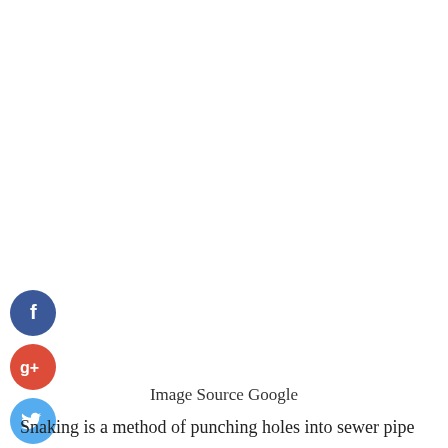[Figure (illustration): Social media sharing icons arranged vertically: Facebook (blue circle with 'f'), Google+ (red circle with 'g+'), Twitter (light blue circle with bird), and a dark blue circle with '+' sign]
Image Source Google
Snaking is a method of punching holes into sewer pipe